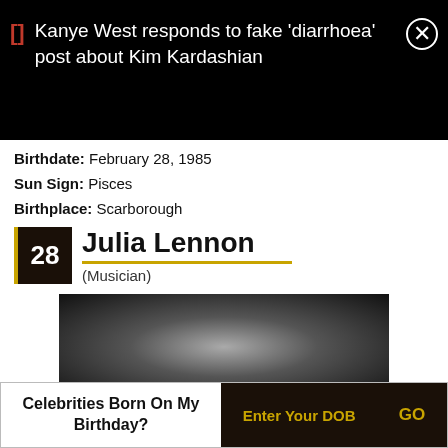Kanye West responds to fake 'diarrhoea' post about Kim Kardashian
Birthdate: February 28, 1985
Sun Sign: Pisces
Birthplace: Scarborough
28 Julia Lennon (Musician)
[Figure (photo): Black and white photo of Julia Lennon, partially visible]
Celebrities Born On My Birthday? Enter Your DOB GO